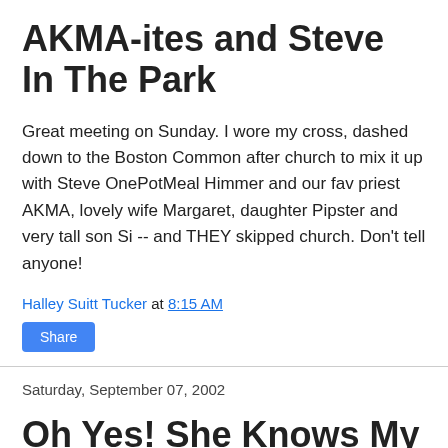AKMA-ites and Steve In The Park
Great meeting on Sunday. I wore my cross, dashed down to the Boston Common after church to mix it up with Steve OnePotMeal Himmer and our fav priest AKMA, lovely wife Margaret, daughter Pipster and very tall son Si -- and THEY skipped church. Don't tell anyone!
Halley Suitt Tucker at 8:15 AM
Share
Saturday, September 07, 2002
Oh Yes! She Knows My Soul